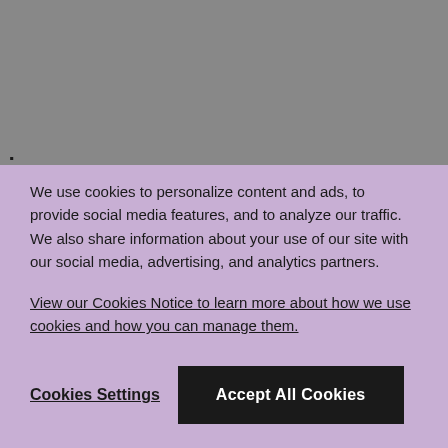;
RELATED PRODUCTS
We use cookies to personalize content and ads, to provide social media features, and to analyze our traffic. We also share information about your use of our site with our social media, advertising, and analytics partners.
View our Cookies Notice to learn more about how we use cookies and how you can manage them.
Cookies Settings
Accept All Cookies